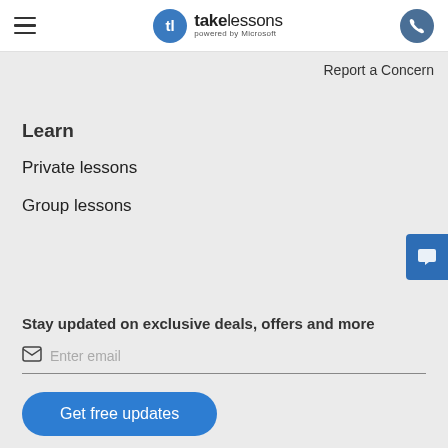[Figure (logo): TakeLessons powered by Microsoft logo with hamburger menu and phone icon]
Report a Concern
Learn
Private lessons
Group lessons
Stay updated on exclusive deals, offers and more
Enter email
Get free updates